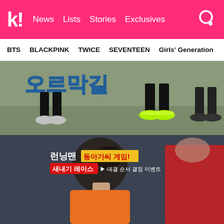k! News  Lists  Stories  Exclusives
BTS  BLACKPINK  TWICE  SEVENTEEN  Girls' Generation
[Figure (screenshot): TV show screenshot showing feet and legs of people running on an outdoor court with Korean text/logo visible at top, neon green sneakers visible]
[Figure (screenshot): Running Man Korean TV show screenshot with Korean overlay text: 런닝맨, 동아가씨 게임!, 새내기 레이스, 대결 순서 결정 이벤트. Shows back of person with dark hair in orange top, and another person in red on right.]